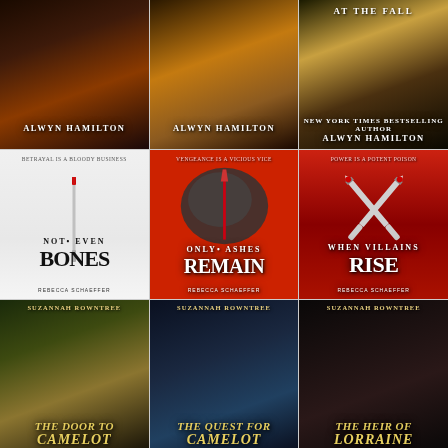[Figure (illustration): 3x3 grid of fantasy book covers. Row 1: Three Alwyn Hamilton books (fantasy novels with dark dramatic covers featuring figures and fire/golden light). Row 2: Three Rebecca Schaeffer books - 'Not Even Bones' (white cover with bloody scalpel), 'Only Ashes Remain' (red cover with rock/sword), 'When Villains Rise' (red/black cover with crossed knives). Row 3: Three Suzannah Rowntree books - 'The Door to Camelot', 'The Quest for Camelot', 'The Heir of Lorraine' (dark fantasy covers with red-haired women in medieval gowns).]